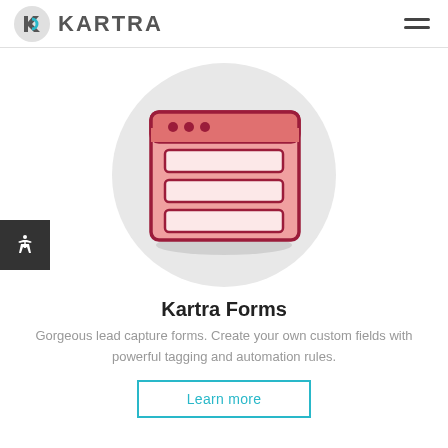KARTRA
[Figure (illustration): Kartra Forms illustration: a large light grey circle containing a dark red/crimson web form icon with three horizontal input field bars on a salmon/pink background, representing a form builder UI element.]
Kartra Forms
Gorgeous lead capture forms. Create your own custom fields with powerful tagging and automation rules.
Learn more